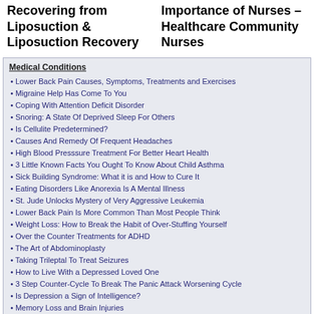Recovering from Liposuction & Liposuction Recovery
Importance of Nurses – Healthcare Community Nurses
Medical Conditions
Lower Back Pain Causes, Symptoms, Treatments and Exercises
Migraine Help Has Come To You
Coping With Attention Deficit Disorder
Snoring: A State Of Deprived Sleep For Others
Is Cellulite Predetermined?
Causes And Remedy Of Frequent Headaches
High Blood Presssure Treatment For Better Heart Health
3 Little Known Facts You Ought To Know About Child Asthma
Sick Building Syndrome: What it is and How to Cure It
Eating Disorders Like Anorexia Is A Mental Illness
St. Jude Unlocks Mystery of Very Aggressive Leukemia
Lower Back Pain Is More Common Than Most People Think
Weight Loss: How to Break the Habit of Over-Stuffing Yourself
Over the Counter Treatments for ADHD
The Art of Abdominoplasty
Taking Trileptal To Treat Seizures
How to Live With a Depressed Loved One
3 Step Counter-Cycle To Break The Panic Attack Worsening Cycle
Is Depression a Sign of Intelligence?
Memory Loss and Brain Injuries